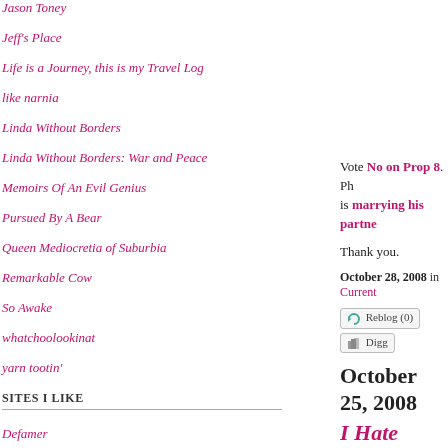Jason Toney
Jeff's Place
Life is a Journey, this is my Travel Log
like narnia
Linda Without Borders
Linda Without Borders: War and Peace
Memoirs Of An Evil Genius
Pursued By A Bear
Queen Mediocretia of Suburbia
Remarkable Cow
So Awake
whatchoolookinat
yarn tootin'
SITES I LIKE
Defamer
Go Fug Yourself
Internet Anagram Server
LAist
Vote No on Prop 8.  Ph is marrying his partne
Thank you.
October 28, 2008 in Current
Reblog (0)   Digg
October 25, 2008
I Hate People, P
Or, This Is Why People Wondering):
Location: The do
When: Yesterday
The Players: A w
The TV is tuned